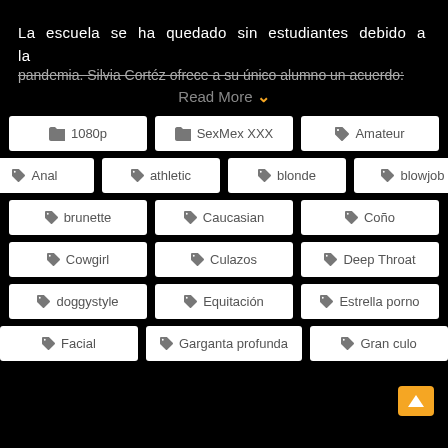La escuela se ha quedado sin estudiantes debido a la pandemia. Silvia Cortéz ofrece a su único alumno un acuerdo:
Read More ▾
🗁 1080p
🗁 SexMex XXX
🏷 Amateur
🏷 Anal
🏷 athletic
🏷 blonde
🏷 blowjob
🏷 brunette
🏷 Caucasian
🏷 Coño
🏷 Cowgirl
🏷 Culazos
🏷 Deep Throat
🏷 doggystyle
🏷 Equitación
🏷 Estrella porno
🏷 Facial
🏷 Garganta profunda
🏷 Gran culo